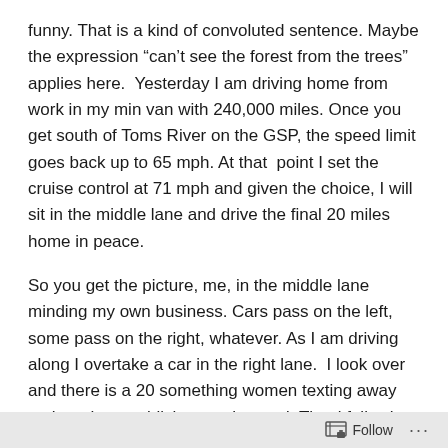funny. That is a kind of convoluted sentence. Maybe the expression “can’t see the forest from the trees” applies here.  Yesterday I am driving home from work in my min van with 240,000 miles. Once you get south of Toms River on the GSP, the speed limit goes back up to 65 mph. At that  point I set the cruise control at 71 mph and given the choice, I will sit in the middle lane and drive the final 20 miles home in peace.
So you get the picture, me, in the middle lane minding my own business. Cars pass on the left, some pass on the right, whatever. As I am driving along I overtake a car in the right lane.  I look over and there is a 20 something women texting away on her phone, oblivious to the road. Thankfully she is in the right lane. Then a mile or so later
Follow ···